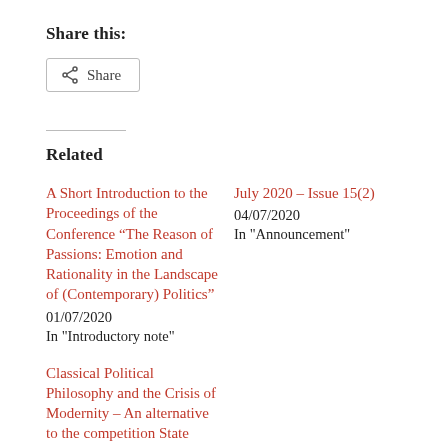Share this:
Share
Related
A Short Introduction to the Proceedings of the Conference “The Reason of Passions: Emotion and Rationality in the Landscape of (Contemporary) Politics”
01/07/2020
In "Introductory note"
July 2020 – Issue 15(2)
04/07/2020
In "Announcement"
Classical Political Philosophy and the Crisis of Modernity – An alternative to the competition State
06/06/2016
In "Interviews, memoirs and other contributions (editorial